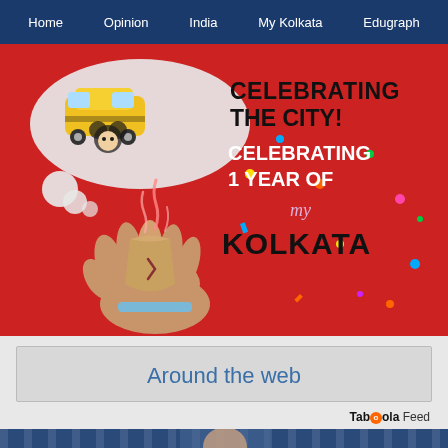Home  Opinion  India  My Kolkata  Edugraph
[Figure (illustration): Red background promotional banner. Left side shows a hand holding a clay cup (kulhad) with steam rising, and a cartoon car illustration above. Right side shows text: CELEBRATING THE CITY! CELEBRATING 1 YEAR OF my KOLKATA. Colorful confetti scattered around.]
Around the web
Taboola Feed
[Figure (illustration): Bottom navigation strip with dark blue striped bar and a partially visible image.]
[Figure (logo): Bottom icon bar showing four logos: TT (The Telegraph serif logo), my Kolkata script logo, edu (Edugraph logo), HORSE RACING text logo]
Home  Opinion  India  My Kolkata  Edugraph  TT  my Kolkata  edu  HORSE RACING